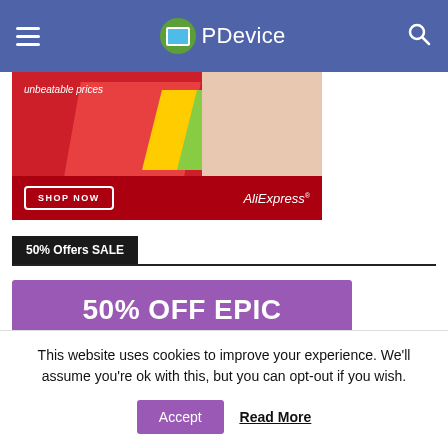OPDevice
[Figure (infographic): AliExpress advertisement banner with red background, shopping bags, woman with tablet, 'unbeatable prices' text, SHOP NOW button, and AliExpress logo]
50% Offers SALE
[Figure (infographic): Purple banner reading '50% OFF EPIC']
This website uses cookies to improve your experience. We'll assume you're ok with this, but you can opt-out if you wish.
Accept | Read More